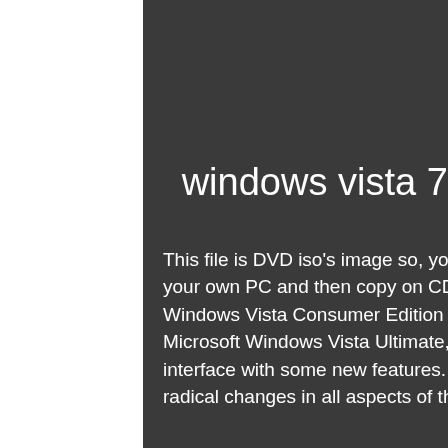windows vista 700mb iso torrent
This file is DVD iso's image so, you can burn the image on a DVD by your own PC and then copy on CD drive to any other computer. Windows Vista Consumer Edition version is the derivative of Microsoft Windows Vista Ultimate, it comes with standard user interface with some new features. Windows Vista is known for its radical changes in all aspects of the system. The final version of